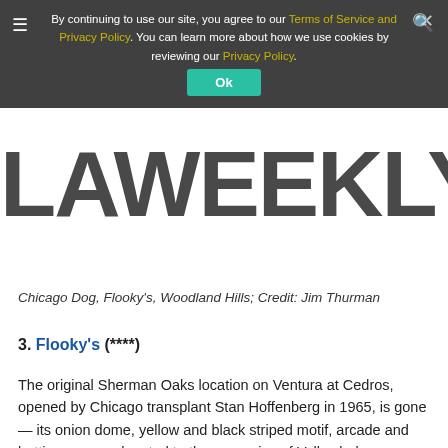By continuing to use our site, you agree to our Terms of Service and Privacy Policy. You can learn more about how we use cookies by reviewing our Privacy Policy.
[Figure (logo): LA Weekly logo in large bold black text]
Chicago Dog, Flooky's, Woodland Hills; Credit: Jim Thurman
3. Flooky's (****)
The original Sherman Oaks location on Ventura at Cedros, opened by Chicago transplant Stan Hoffenberg in 1965, is gone — its onion dome, yellow and black striped motif, arcade and batting cages relegated to the memories of Valley baby boomers. Following a franchising boom and bust, two unaffiliated